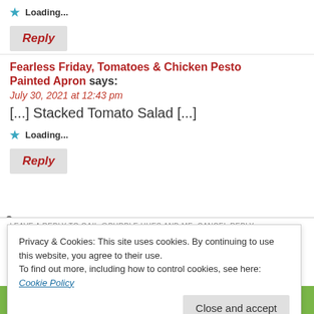Loading...
Reply
Fearless Friday, Tomatoes & Chicken Pesto Painted Apron says:
July 30, 2021 at 12:43 pm
[...] Stacked Tomato Salad [...]
Loading...
Reply
LEAVE A REPLY TO GAIL @PURPLE HUES AND ME CANCEL REPLY
Privacy & Cookies: This site uses cookies. By continuing to use this website, you agree to their use.
To find out more, including how to control cookies, see here: Cookie Policy
Close and accept